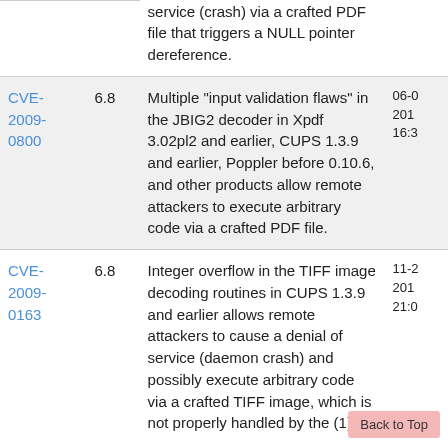| CVE | Score | Description | Date |
| --- | --- | --- | --- |
|  |  | service (crash) via a crafted PDF file that triggers a NULL pointer dereference. |  |
| CVE-2009-0800 | 6.8 | Multiple "input validation flaws" in the JBIG2 decoder in Xpdf 3.02pl2 and earlier, CUPS 1.3.9 and earlier, Poppler before 0.10.6, and other products allow remote attackers to execute arbitrary code via a crafted PDF file. | 06-... 201... 16:3... |
| CVE-2009-0163 | 6.8 | Integer overflow in the TIFF image decoding routines in CUPS 1.3.9 and earlier allows remote attackers to cause a denial of service (daemon crash) and possibly execute arbitrary code via a crafted TIFF image, which is not properly handled by the (1) | 11-... 201... 21:0... |
Back to Top